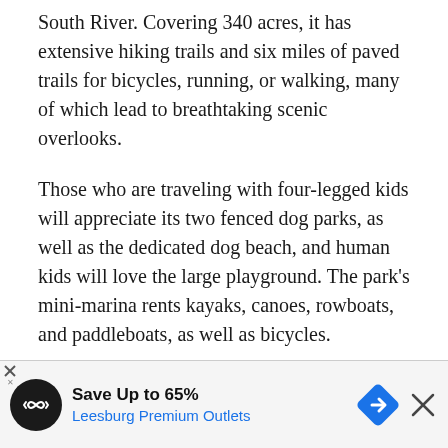South River. Covering 340 acres, it has extensive hiking trails and six miles of paved trails for bicycles, running, or walking, many of which lead to breathtaking scenic overlooks.
Those who are traveling with four-legged kids will appreciate its two fenced dog parks, as well as the dedicated dog beach, and human kids will love the large playground. The park's mini-marina rents kayaks, canoes, rowboats, and paddleboats, as well as bicycles.
The park is also home to beautiful formal gardens and adjacent event facilities, a popular spot for weddings... (advertisement overlaps)
[Figure (other): Advertisement banner: Save Up to 65% - Leesburg Premium Outlets, with navigation icon and close button]